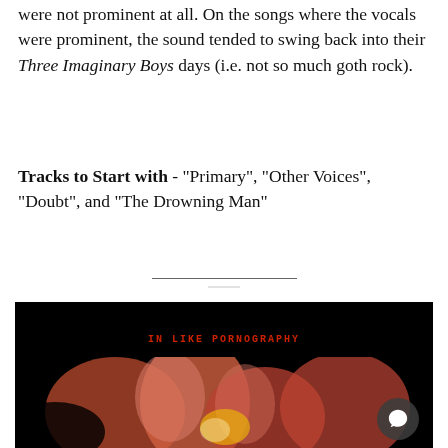were not prominent at all. On the songs where the vocals were prominent, the sound tended to swing back into their Three Imaginary Boys days (i.e. not so much goth rock).
Tracks to Start with - "Primary", "Other Voices", "Doubt", and "The Drowning Man"
[Figure (photo): Album cover art for what appears to be The Cure's Pornography album. Dark background with red/orange flame-like shapes in the foreground and band name text in red at the top center.]